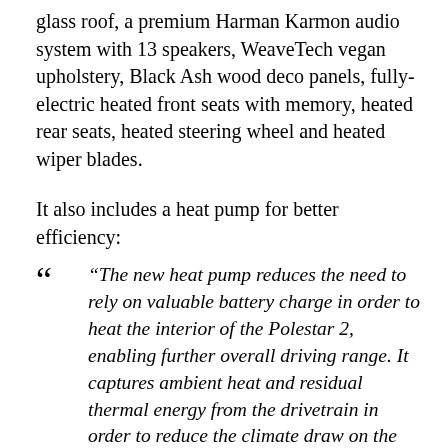glass roof, a premium Harman Karmon audio system with 13 speakers, WeaveTech vegan upholstery, Black Ash wood deco panels, fully-electric heated front seats with memory, heated rear seats, heated steering wheel and heated wiper blades.
It also includes a heat pump for better efficiency:
“The new heat pump reduces the need to rely on valuable battery charge in order to heat the interior of the Polestar 2, enabling further overall driving range. It captures ambient heat and residual thermal energy from the drivetrain in order to reduce the climate draw on the